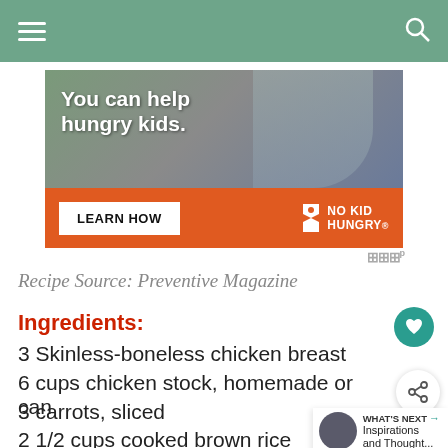Navigation bar with hamburger menu and search icon
[Figure (infographic): Advertisement banner for No Kid Hungry. Top half shows a child eating with text 'You can help hungry kids.' Bottom half is orange with a 'LEARN HOW' button and No Kid Hungry logo.]
Recipe Source:  Preventive Magazine
Ingredients:
3 Skinless-boneless chicken breast
6 cups chicken stock, homemade or cann
3 carrots, sliced
2 1/2 cups cooked brown rice
3 tablespoons lime juice